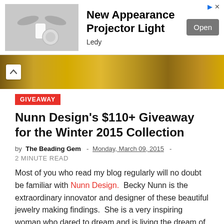[Figure (photo): Advertisement banner: image of a projector light with wings on gray background, text 'New Appearance Projector Light', brand 'Ledy', and an 'Open' button]
[Figure (photo): Hero image showing a golden/amber textured surface, likely a piece of jewelry or metalwork, with a chevron-up arrow icon on the left]
GIVEAWAY
Nunn Design's $110+ Giveaway for the Winter 2015 Collection
by The Beading Gem - Monday, March 09, 2015 - 2 MINUTE READ
Most of you who read my blog regularly will no doubt be familiar with Nunn Design.  Becky Nunn is the extraordinary innovator and designer of these beautiful jewelry making findings.  She is a very inspiring woman who dared to dream and is living the dream of "a small company, producing findings of the highest quality, with generational artisans